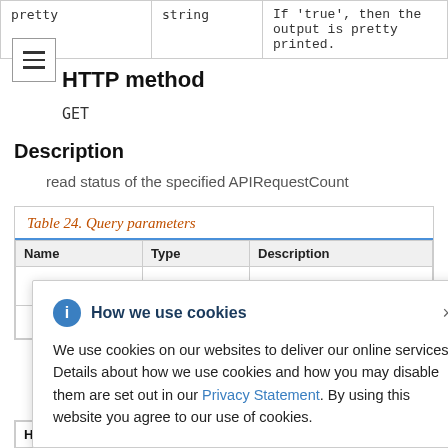| pretty | string |  |
| --- | --- | --- |
| pretty | string | If 'true', then the output is pretty printed. |
HTTP method
GET
Description
read status of the specified APIRequestCount
Table 24. Query parameters
How we use cookies
We use cookies on our websites to deliver our online services. Details about how we use cookies and how you may disable them are set out in our Privacy Statement. By using this website you agree to our use of cookies.
| HTTP code | Response body |
| --- | --- |